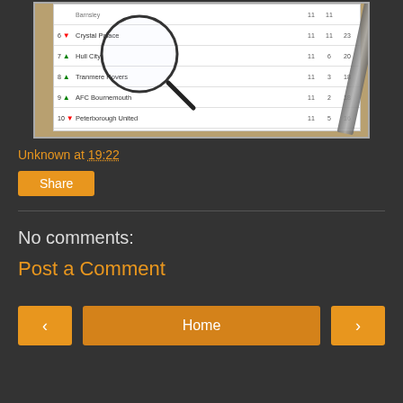[Figure (photo): Photo of a mobile phone or tablet showing a football league table with teams including Crystal Palace, Hull City, Tranmere Rovers, AFC Bournemouth, Peterborough United, Leicester City, with numbers and ranking arrows. A magnifying glass and pen are visible on the table.]
Unknown at 19:22
Share
No comments:
Post a Comment
‹
Home
›